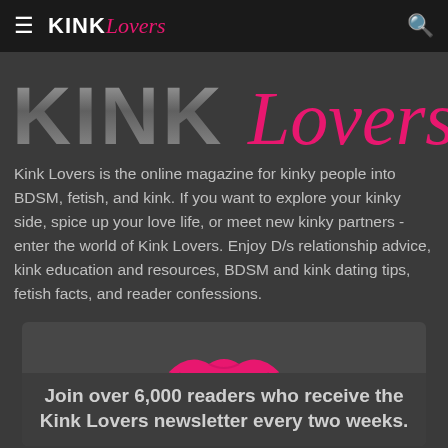KINK Lovers
[Figure (logo): Large KINKLovers logo in big metallic/grey KINK text and pink italic Lovers text]
Kink Lovers is the online magazine for kinky people into BDSM, fetish, and kink. If you want to explore your kinky side, spice up your love life, or meet new kinky partners - enter the world of Kink Lovers. Enjoy D/s relationship advice, kink education and resources, BDSM and kink dating tips, fetish facts, and reader confessions.
[Figure (illustration): Pink/hot-pink lipstick kiss mark icon centered in newsletter signup box]
Join over 6,000 readers who receive the Kink Lovers newsletter every two weeks.